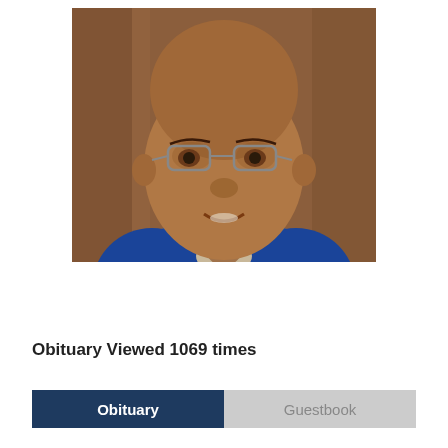[Figure (photo): Portrait photo of a middle-aged man with glasses, bald head, wearing a blue jacket, smiling slightly, with a wooden background]
Obituary Viewed 1069 times
Obituary | Guestbook